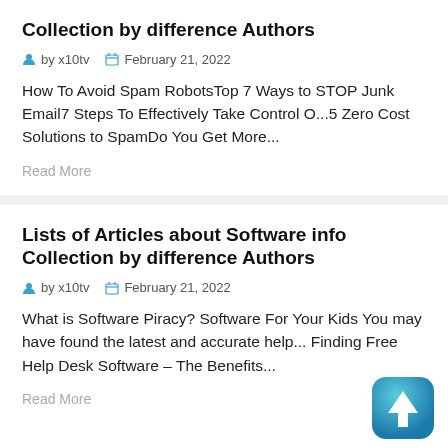Collection by difference Authors
by x10tv  February 21, 2022
How To Avoid Spam RobotsTop 7 Ways to STOP Junk Email7 Steps To Effectively Take Control O...5 Zero Cost Solutions to SpamDo You Get More...
Read More
Lists of Articles about Software info Collection by difference Authors
by x10tv  February 21, 2022
What is Software Piracy?  Software For Your Kids You may have found the latest and accurate help... Finding Free Help Desk Software –  The Benefits...
Read More